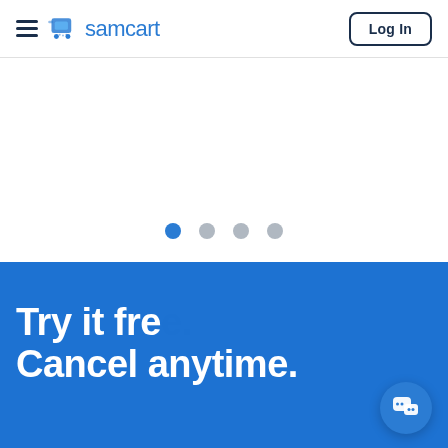[Figure (screenshot): SamCart website navigation bar with hamburger menu, SamCart logo (blue cart icon + 'samcart' text), and 'Log In' button on the right]
[Figure (infographic): White section with carousel pagination dots: first dot blue (active), three dots grey (inactive)]
[Figure (screenshot): Blue promotional section with large white bold text 'Try it fre...' and 'Cancel anytime.' with a chat popup overlay showing SamCart icon and 'Hey There!' greeting with X close button, and a blue circular chat button at bottom right]